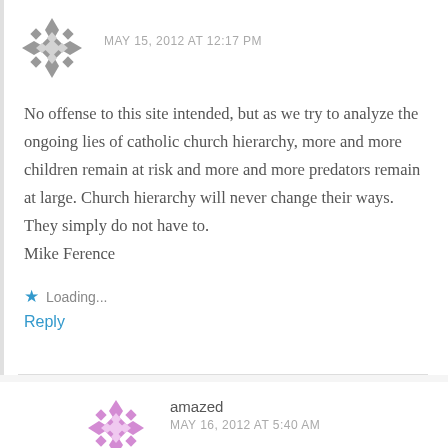[Figure (illustration): Gray geometric snowflake/star avatar icon for commenter]
MAY 15, 2012 AT 12:17 PM
No offense to this site intended, but as we try to analyze the ongoing lies of catholic church hierarchy, more and more children remain at risk and more and more predators remain at large. Church hierarchy will never change their ways. They simply do not have to.
Mike Ference
Loading...
Reply
[Figure (illustration): Pink/purple geometric snowflake/star avatar icon for commenter amazed]
amazed
MAY 16, 2012 AT 5:40 AM